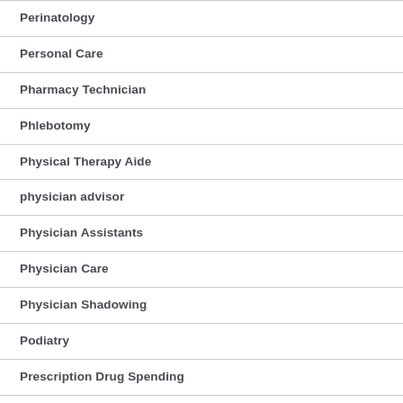Perinatology
Personal Care
Pharmacy Technician
Phlebotomy
Physical Therapy Aide
physician advisor
Physician Assistants
Physician Care
Physician Shadowing
Podiatry
Prescription Drug Spending